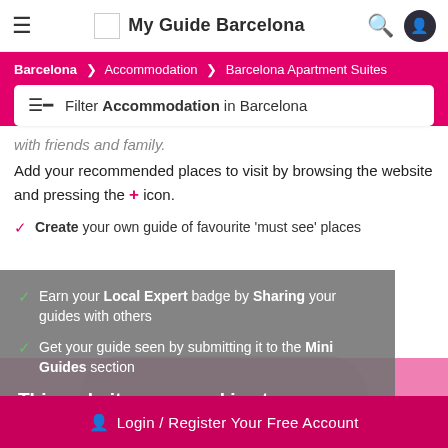My Guide Barcelona
Barcelona > Accommodation > Barcelona Apartment Suites
Filter Accommodation in Barcelona
with friends and family.
Add your recommended places to visit by browsing the website and pressing the + icon.
Create your own guide of favourite 'must see' places
Earn your Local Expert badge by Sharing your guides with others
Get your guide seen by submitting it to the Mini Guides section
This website uses cookies to ensure you get the best experience on our website.
Learn more
Got it!
Login / Register Your Free Account